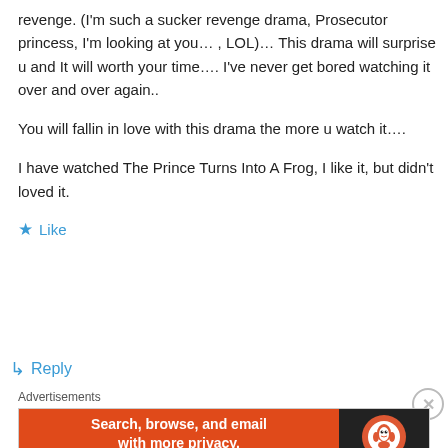revenge. (I'm such a sucker revenge drama, Prosecutor princess, I'm looking at you… , LOL)… This drama will surprise u and It will worth your time…. I've never get bored watching it over and over again..
You will fallin in love with this drama the more u watch it….
I have watched The Prince Turns Into A Frog, I like it, but didn't loved it.
★ Like
↳ Reply
Advertisements
[Figure (other): DuckDuckGo advertisement banner: orange left side with text 'Search, browse, and email with more privacy. All in One Free App' and dark right side with DuckDuckGo logo and name]